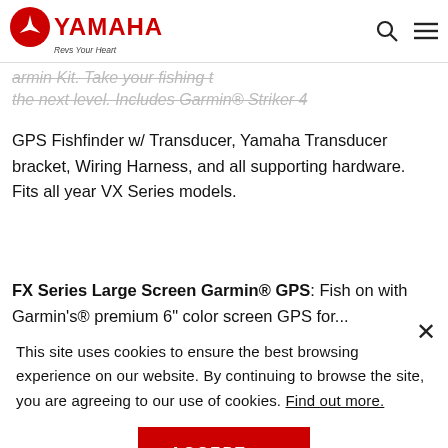YAMAHA Revs Your Heart — Garmin Kit navigation bar with search and menu icons
...Garmin Kit. Take your fishing to the next level. Includes Garmin® Striker 4 GPS Fishfinder w/ Transducer, Yamaha Transducer bracket, Wiring Harness, and all supporting hardware. Fits all year VX Series models.
FX Series Large Screen Garmin® GPS: Fish on with Garmin's® premium 6" color screen GPS for...
This site uses cookies to ensure the best browsing experience on our website. By continuing to browse the site, you are agreeing to our use of cookies. Find out more.
ACCEPT →